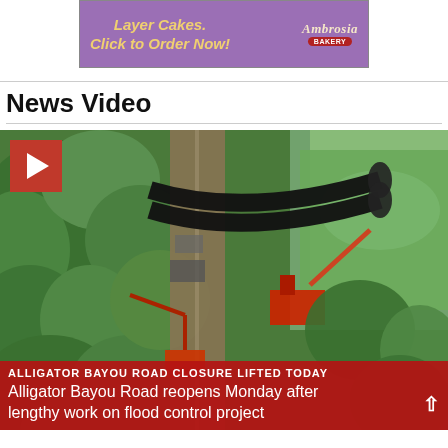[Figure (other): Advertisement banner for Ambrosia Bakery with purple background, showing 'Layer Cakes. Click to Order Now!' text in yellow italic font and the Ambrosia Bakery logo on the right.]
News Video
[Figure (photo): Aerial drone photograph of Alligator Bayou Road showing a pipeline/flood control construction project. A road runs through dense green trees and over a waterway with large pipes visible. Construction equipment including cranes and machinery are present. A red play button overlay is in the top-left corner. A red lower-third banner reads 'ALLIGATOR BAYOU ROAD CLOSURE LIFTED TODAY' and below it 'Alligator Bayou Road reopens Monday after lengthy work on flood control project'.]